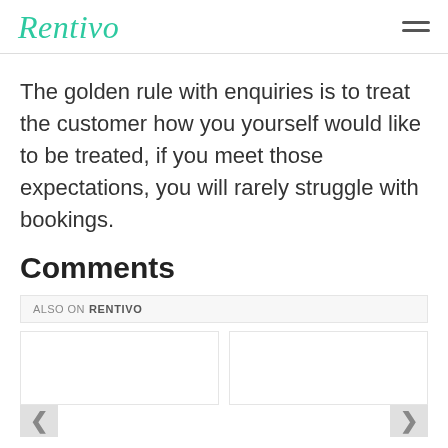Rentivo
The golden rule with enquiries is to treat the customer how you yourself would like to be treated, if you meet those expectations, you will rarely struggle with bookings.
Comments
ALSO ON RENTIVO